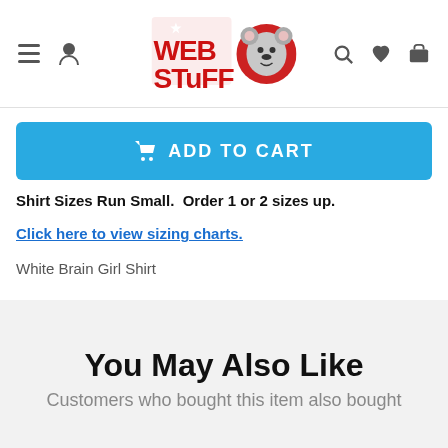Web Stuff store header navigation
[Figure (logo): Web Stuff logo with red block letters and a koala mascot]
ADD TO CART
Shirt Sizes Run Small.  Order 1 or 2 sizes up.
Click here to view sizing charts.
White Brain Girl Shirt
You May Also Like
Customers who bought this item also bought